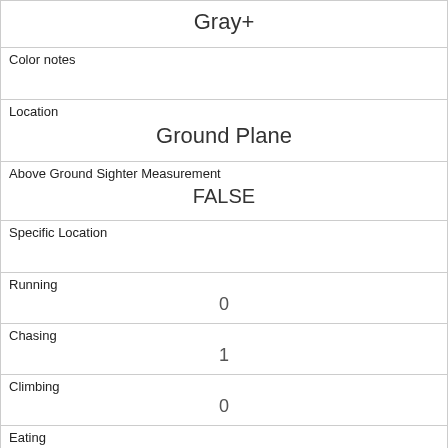| Gray+ |
| Color notes |  |
| Location | Ground Plane |
| Above Ground Sighter Measurement | FALSE |
| Specific Location |  |
| Running | 0 |
| Chasing | 1 |
| Climbing | 0 |
| Eating | 0 |
| Foraging | 0 |
| Other Activities |  |